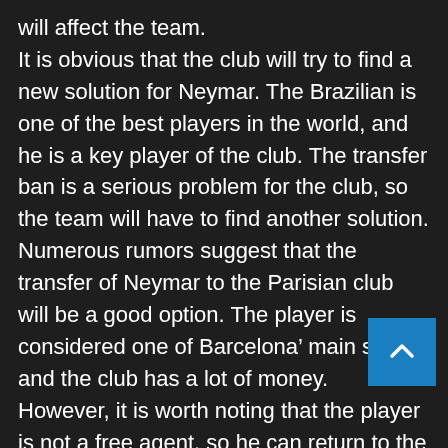will affect the team. It is obvious that the club will try to find a new solution for Neymar. The Brazilian is one of the best players in the world, and he is a key player of the club. The transfer ban is a serious problem for the club, so the team will have to find another solution. Numerous rumors suggest that the transfer of Neymar to the Parisian club will be a good option. The player is considered one of Barcelona’ main stars, and the club has a lot of money. However, it is worth noting that the player is not a free agent, so he can return to the club if he wants. In this case, the club can sign a replacement for the player, who is already a great player. The transfer ban has a negative effect on the team, so the team will have difficulties to compete in the championship. The team will miss the star player, and it is obvious by the